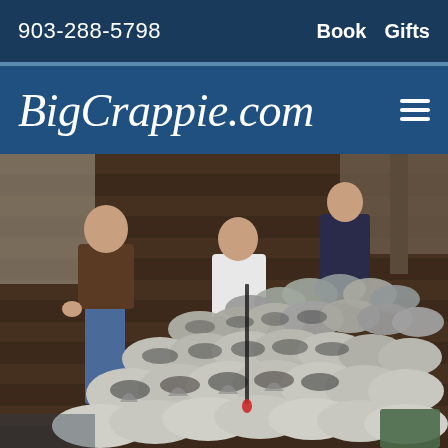903-288-5798   Book   Gifts
BigCrappie.com
[Figure (photo): Photo of a large catch of crappie fish laid out on a wooden dock/pier. Two people standing in background, one in brown shirt and jeans, another in white shirt. Dozens of crappie fish are spread across the wooden surface.]